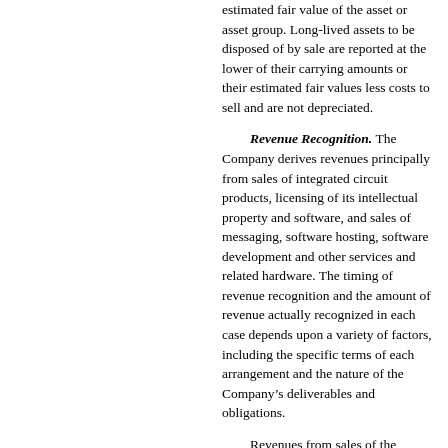estimated fair value of the asset or asset group. Long-lived assets to be disposed of by sale are reported at the lower of their carrying amounts or their estimated fair values less costs to sell and are not depreciated.
Revenue Recognition. The Company derives revenues principally from sales of integrated circuit products, licensing of its intellectual property and software, and sales of messaging, software hosting, software development and other services and related hardware. The timing of revenue recognition and the amount of revenue actually recognized in each case depends upon a variety of factors, including the specific terms of each arrangement and the nature of the Company’s deliverables and obligations.
Revenues from sales of the Company’s products are recognized at the time of shipment, or when title and risk of loss pass to the customer and other criteria for revenue recognition are met, if later. Revenues from providing services, including software hosting services, are recognized when earned. Revenues from